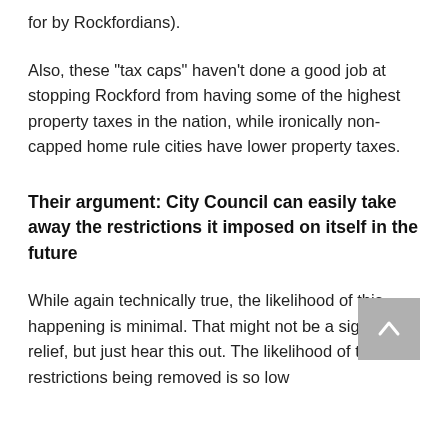for by Rockfordians).
Also, these "tax caps" haven't done a good job at stopping Rockford from having some of the highest property taxes in the nation, while ironically non-capped home rule cities have lower property taxes.
Their argument: City Council can easily take away the restrictions it imposed on itself in the future
While again technically true, the likelihood of this happening is minimal. That might not be a sigh of relief, but just hear this out. The likelihood of these restrictions being removed is so low